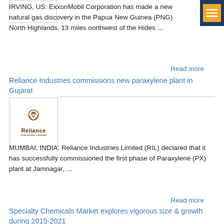[Figure (logo): Empty white box with border (ExxonMobil logo placeholder)]
IRVING, US: ExxonMobil Corporation has made a new natural gas discovery in the Papua New Guinea (PNG) North Highlands, 13 miles northwest of the Hides ...
[Figure (other): Orange and blue hamburger menu navigation button in top right corner]
Read more
Reliance Industries commissions new paraxylene plant in Gujarat
[Figure (logo): Reliance Industries Limited logo with circular icon and company name]
MUMBAI, INDIA: Reliance Industries Limited (RIL) declared that it has successfully commissioned the first phase of Paraxylene (PX) plant at Jamnagar, ...
Read more
Specialty Chemicals Market explores vigorous size & growth during 2015-2021